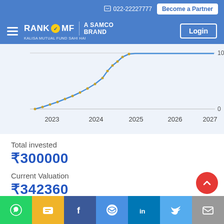📞 022-22227777   Become a Partner
[Figure (logo): RankMF - A Samco Brand logo with hamburger menu and Login button]
[Figure (line-chart): Line chart showing investment growth from 2023 to 2027, rising steeply from near 0 to ~100k]
Total invested
₹300000
Current Valuation
₹342360
Net profit
[Figure (other): Social sharing buttons: WhatsApp, SMS, Facebook, Messenger, LinkedIn, Twitter, Email]